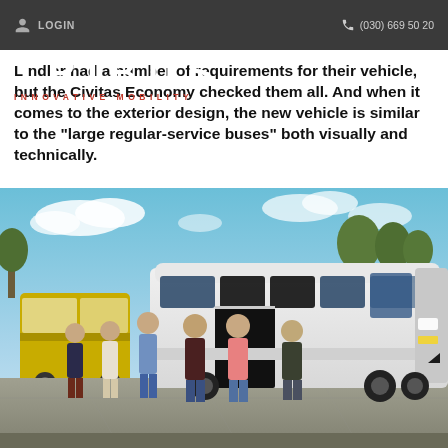LOGIN | (030) 669 50 20
Lindlar had a number of requirements for their vehicle, but the Civitas Economy checked them all. And when it comes to the exterior design, the new vehicle is similar to the "large regular-service buses" both visually and technically.
[Figure (photo): Group of six people standing in front of a white Civitas Economy minibus in a parking lot, with yellow regular-service buses visible in the background. Taken outdoors on a sunny day with trees and blue sky visible.]